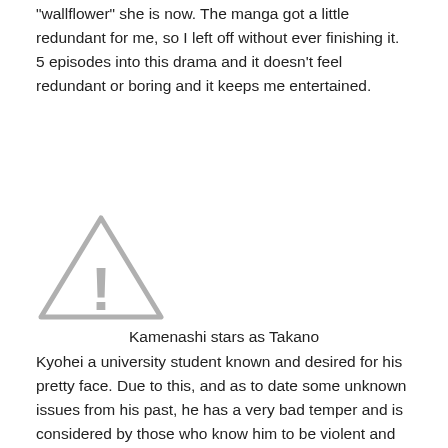“wallflower” she is now. The manga got a little redundant for me, so I left off without ever finishing it. 5 episodes into this drama and it doesn’t feel redundant or boring and it keeps me entertained.
[Figure (other): Warning/caution triangle icon with exclamation mark, grey outline style]
Kamenashi stars as Takano
Kyohei a university student known and desired for his pretty face. Due to this, and as to date some unknown issues from his past, he has a very bad temper and is considered by those who know him to be violent and not quite “human.” (The bar/cafe owner in the 5th episode